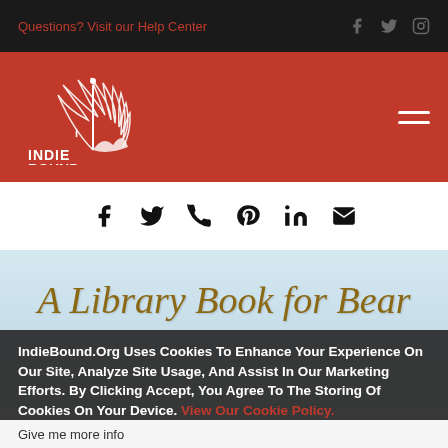Questions? Visit our Help Center
[Figure (logo): IndieBound logo on red background with hamburger menu icon]
[Figure (infographic): Social share icons: Facebook, Twitter, WhatsApp, Pinterest, LinkedIn, Email]
[Figure (photo): Book cover for 'A Library Book for Bear' with illustrated background]
IndieBound.Org Uses Cookies To Enhance Your Experience On Our Site, Analyze Site Usage, And Assist In Our Marketing Efforts. By Clicking Accept, You Agree To The Storing Of Cookies On Your Device. View Our Cookie Policy.
Give me more info